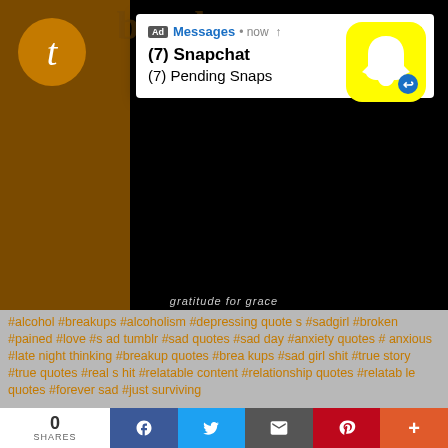[Figure (screenshot): Tumblr blog page screenshot showing a Snapchat ad notification popup, an 'Click OK To Continue' alert dialog, hashtag tags area, and a social sharing footer bar]
Ad Messages • now
(7) Snapchat
(7) Pending Snaps
Click OK To Continue
OK
#alcohol #breakups #alcoholism #depressing quotes #sadgirl #broken #sad #pained #love #sad tumblr #sad quotes #sad day #anxiety quotes #anxious #late night thinking #breakup quotes #breakups #sad girl shit #true story #true quotes #real shit #relatable content #relationship quotes #relatable quotes #forever sad #just surviving
0
SHARES